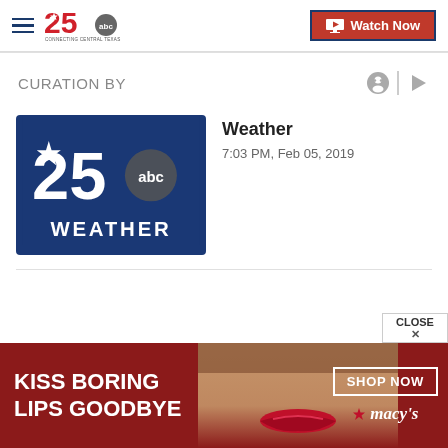[Figure (logo): 25 ABC Connecting Central Texas logo in header with hamburger menu icon]
[Figure (screenshot): Watch Now button with monitor icon, red and blue border]
CURATION BY
[Figure (screenshot): 25 ABC Weather thumbnail logo - dark blue background with '25 star abc WEATHER' branding]
Weather
7:03 PM, Feb 05, 2019
[Figure (photo): Macy's advertisement - KISS BORING LIPS GOODBYE with woman's face and red lips, SHOP NOW button and Macy's star logo]